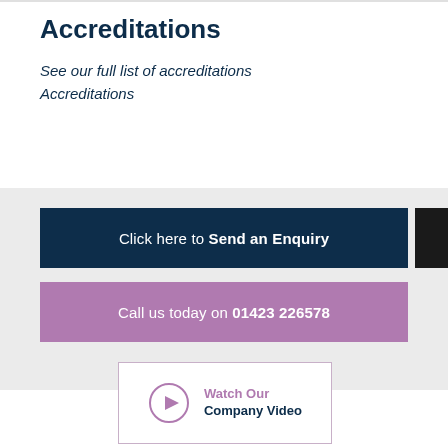Accreditations
See our full list of accreditations
Accreditations
Click here to Send an Enquiry
Call us today on 01423 226578
[Figure (other): Watch Our Company Video button with play icon]